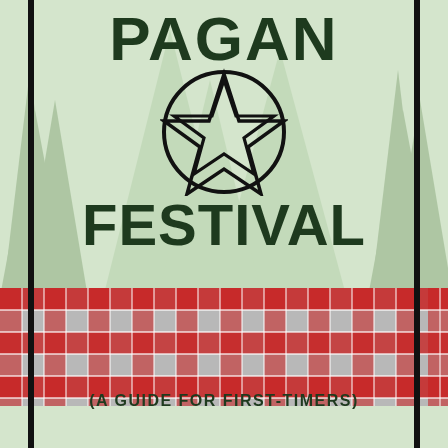[Figure (illustration): Book cover: Pagan Festival (A Guide for First-Timers). Sage green background with watercolor pine tree silhouettes, a pentacle symbol (five-pointed star in a circle), large dark green bold text reading PAGAN FESTIVAL, a red and grey plaid/gingham banner across the middle-lower section, and subtitle text (A GUIDE FOR FIRST-TIMERS) at the bottom. Black vertical border bars on left and right edges.]